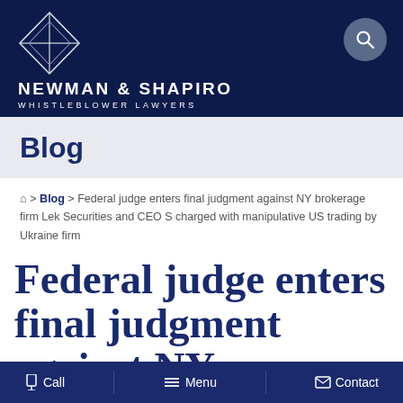[Figure (logo): Newman & Shapiro Whistleblower Lawyers logo with diamond/star geometric shape in white on dark navy background]
Blog
🏠 > Blog > Federal judge enters final judgment against NY brokerage firm Lek Securities and CEO S charged with manipulative US trading by Ukraine firm
Federal judge enters final judgment against NY brokerage
Call   Menu   Contact